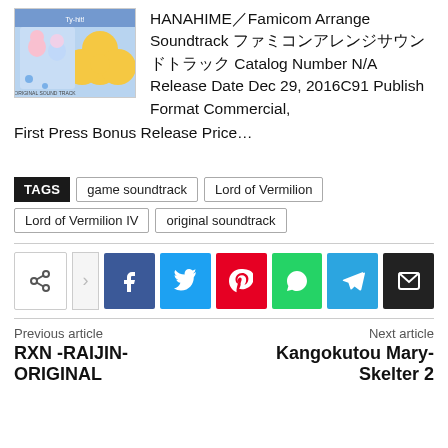[Figure (illustration): Album cover artwork for HANAHIME Famicom Arrange Soundtrack, showing anime-style characters on blue/white background with a yellow clover shape]
HANAHIME／Famicom Arrange Soundtrack ファミコンアレンジサウンドトラック Catalog Number N/A Release Date Dec 29, 2016C91 Publish Format Commercial, First Press Bonus Release Price…
TAGS  game soundtrack  Lord of Vermilion  Lord of Vermilion IV  original soundtrack
[Figure (infographic): Social share buttons row: share icon, Facebook, Twitter, Pinterest, WhatsApp, Telegram, Email]
Previous article
RXN -RAIJIN- ORIGINAL
Next article
Kangokutou Mary-Skelter 2